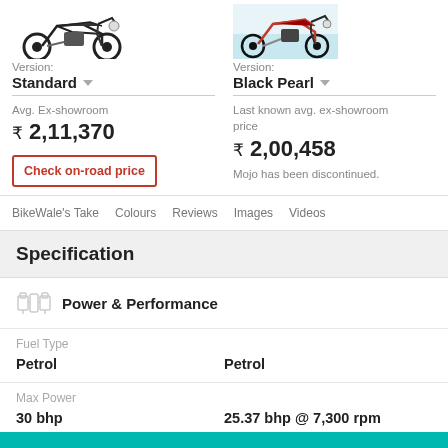[Figure (photo): Motorcycle image left side - black scrambler/cafe racer style motorcycle]
Version: Standard
Avg. Ex-showroom ₹ 2,11,370
Check on-road price
[Figure (photo): Motorcycle image right side - black motorcycle on beach backdrop]
Version: Black Pearl
Last known avg. ex-showroom price ₹ 2,00,458
Mojo has been discontinued.
BikeWale's Take   Colours   Reviews   Images   Videos
Specification
Power & Performance
|  | Left | Right |
| --- | --- | --- |
| Fuel Type | Petrol | Petrol |
| Max Power | 30 bhp | 25.37 bhp @ 7,300 rpm |